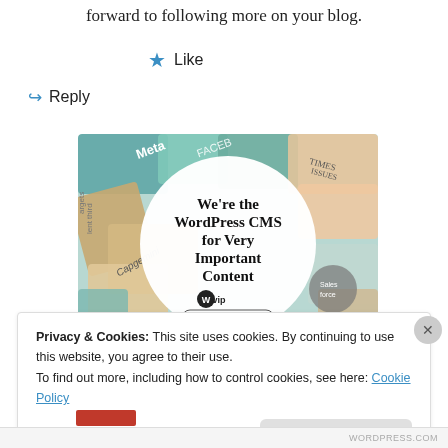forward to following more on your blog.
★ Like
↪ Reply
[Figure (illustration): WordPress VIP advertisement banner showing colored magazine/newspaper covers in the background with a white circle containing text: 'We're the WordPress CMS for Very Important Content' with the WordPress VIP logo and a 'Learn more →' button]
Privacy & Cookies: This site uses cookies. By continuing to use this website, you agree to their use.
To find out more, including how to control cookies, see here: Cookie Policy
Close and accept